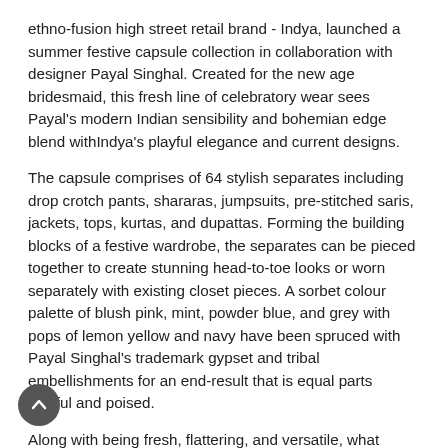ethno-fusion high street retail brand - Indya, launched a summer festive capsule collection in collaboration with designer Payal Singhal. Created for the new age bridesmaid, this fresh line of celebratory wear sees Payal's modern Indian sensibility and bohemian edge blend withIndya's playful elegance and current designs.
The capsule comprises of 64 stylish separates including drop crotch pants, shararas, jumpsuits, pre-stitched saris, jackets, tops, kurtas, and dupattas. Forming the building blocks of a festive wardrobe, the separates can be pieced together to create stunning head-to-toe looks or worn separately with existing closet pieces. A sorbet colour palette of blush pink, mint, powder blue, and grey with pops of lemon yellow and navy have been spruced with Payal Singhal's trademark gypset and tribal embellishments for an end-result that is equal parts playful and poised.
Along with being fresh, flattering, and versatile, what steers this collection is inclusivity. Available in sizes XS to 4XL selectively, the collection has something for every experimental and fashion-forward woman out there.